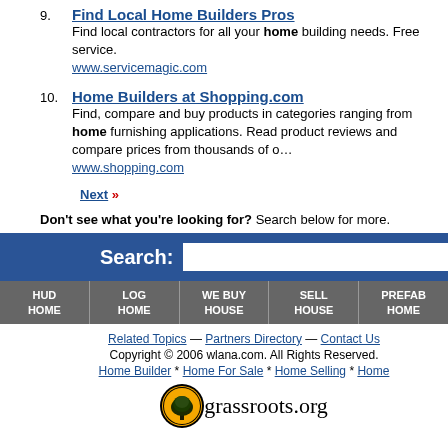9. Find Local Home Builders Pros — Find local contractors for all your home building needs. Free service. www.servicemagic.com
10. Home Builders at Shopping.com — Find, compare and buy products in categories ranging from home furnishing applications. Read product reviews and compare prices from thousands of o... www.shopping.com
Next »
Don't see what you're looking for? Search below for more.
[Figure (other): Search bar with blue background and white input field labeled Search:]
[Figure (other): Navigation bar with dark gray background and items: HUD HOME, LOG HOME, WE BUY HOUSE, SELL HOUSE, PREFAB HOME]
Related Topics — Partners Directory — Contact Us
Copyright © 2006 wlana.com. All Rights Reserved.
Home Builder * Home For Sale * Home Selling * Home
[Figure (logo): grassroots.org logo with tree icon]